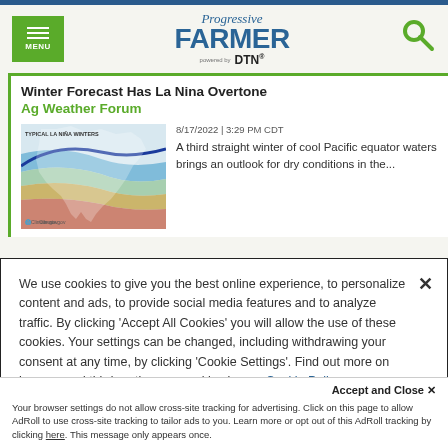Progressive FARMER powered by DTN
Winter Forecast Has La Nina Overtone
Ag Weather Forum
[Figure (map): Typical La Niña Winters climate map of North America showing weather patterns]
8/17/2022 | 3:29 PM CDT
A third straight winter of cool Pacific equator waters brings an outlook for dry conditions in the...
We use cookies to give you the best online experience, to personalize content and ads, to provide social media features and to analyze traffic. By clicking 'Accept All Cookies' you will allow the use of these cookies. Your settings can be changed, including withdrawing your consent at any time, by clicking 'Cookie Settings'. Find out more on how we and third parties use cookies in our  Cookie Policy
Accept and Close ×
Your browser settings do not allow cross-site tracking for advertising. Click on this page to allow AdRoll to use cross-site tracking to tailor ads to you. Learn more or opt out of this AdRoll tracking by clicking here. This message only appears once.